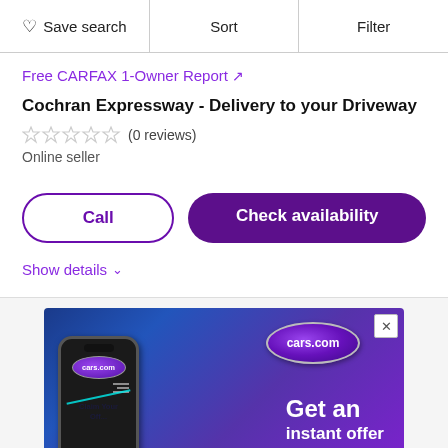♡ Save search  |  Sort  |  Filter
Free CARFAX 1-Owner Report ↗
Cochran Expressway - Delivery to your Driveway
☆☆☆☆☆ (0 reviews)
Online seller
Call
Check availability
Show details ˅
[Figure (screenshot): cars.com advertisement banner with blue-purple gradient background showing a smartphone with the cars.com logo, and text 'Get an instant offer'. The phone screen shows 'Claim Your Off...' text. Top right shows large cars.com oval logo. A close button (×) appears in the top right corner.]